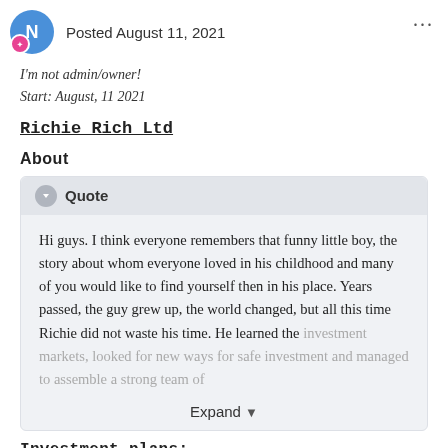Posted August 11, 2021
I'm not admin/owner!
Start: August, 11 2021
Richie Rich Ltd
About
Hi guys. I think everyone remembers that funny little boy, the story about whom everyone loved in his childhood and many of you would like to find yourself then in his place. Years passed, the guy grew up, the world changed, but all this time Richie did not waste his time. He learned the investment markets, looked for new ways for safe investment and managed to assemble a strong team of
Investment plans: